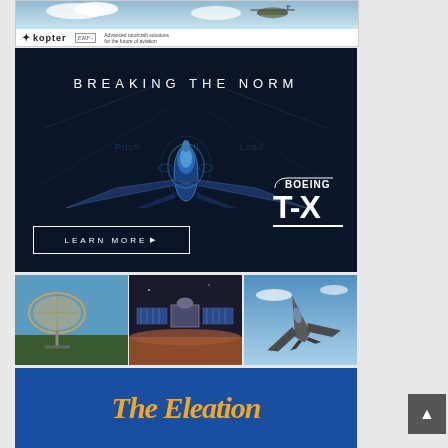[Figure (photo): Kopter/ERF helicopter advertisement banner with helicopter image at top and logos at bottom]
[Figure (photo): Boeing T-X fighter jet advertisement on dark navy background with text BREAKING THE NORM, jet aircraft illustration, LEARN MORE button, Boeing logo and T-X branding]
[Figure (photo): Three panel image strip showing: radar antenna dish, satellite in space, and F-35 stealth fighter jet in flight]
[Figure (photo): Partial view of blue banner advertisement with orange italic text beginning with The Ele...]